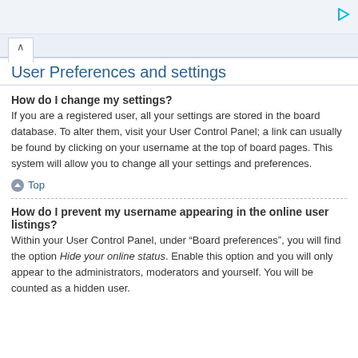User Preferences and settings
How do I change my settings?
If you are a registered user, all your settings are stored in the board database. To alter them, visit your User Control Panel; a link can usually be found by clicking on your username at the top of board pages. This system will allow you to change all your settings and preferences.
Top
How do I prevent my username appearing in the online user listings?
Within your User Control Panel, under “Board preferences”, you will find the option Hide your online status. Enable this option and you will only appear to the administrators, moderators and yourself. You will be counted as a hidden user.